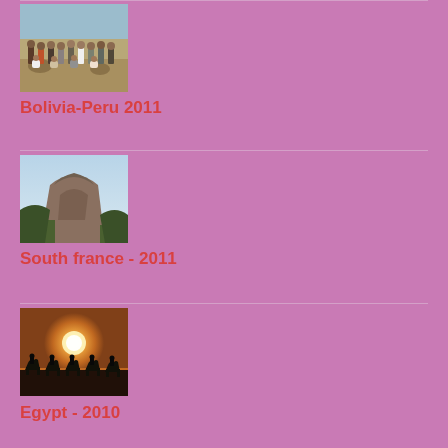[Figure (photo): Group photo of people gathered outdoors in Bolivia-Peru 2011]
Bolivia-Peru 2011
[Figure (photo): Rocky hilltop or butte landscape in South France 2011]
South france - 2011
[Figure (photo): Silhouette of people and camels at sunset in Egypt 2010]
Egypt - 2010